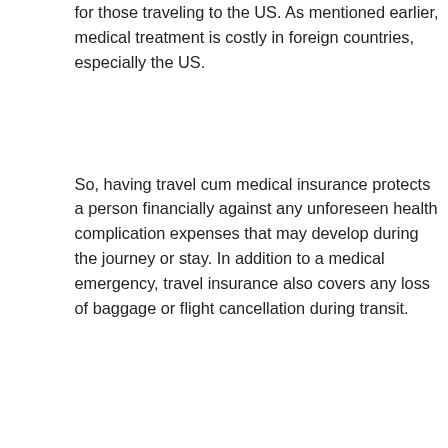for those traveling to the US. As mentioned earlier, medical treatment is costly in foreign countries, especially the US.
So, having travel cum medical insurance protects a person financially against any unforeseen health complication expenses that may develop during the journey or stay. In addition to a medical emergency, travel insurance also covers any loss of baggage or flight cancellation during transit.
CARRYING A NEGATIVE RT-PCR TEST
Need Help? Chat with us
[Figure (photo): A laboratory test corporation document showing specimen information with number KP698547]